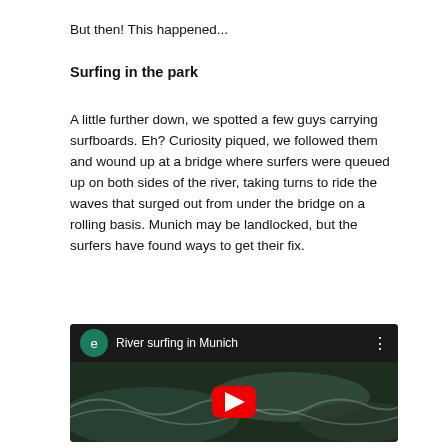But then! This happened...
Surfing in the park
A little further down, we spotted a few guys carrying surfboards. Eh? Curiosity piqued, we followed them and wound up at a bridge where surfers were queued up on both sides of the river, taking turns to ride the waves that surged out from under the bridge on a rolling basis. Munich may be landlocked, but the surfers have found ways to get their fix.
[Figure (screenshot): Embedded YouTube video thumbnail showing river surfing footage with title 'River surfing in Munich', a green channel icon with 'e', and a red YouTube play button in the center.]